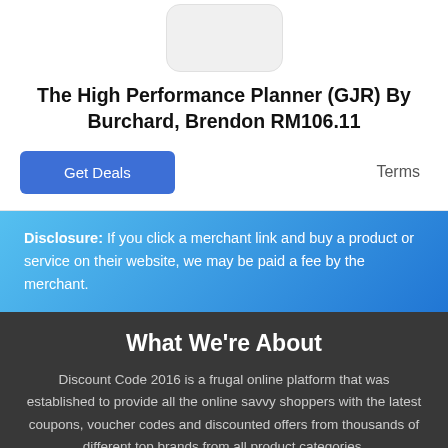[Figure (photo): Product image placeholder box]
The High Performance Planner (GJR) By Burchard, Brendon RM106.11
Get Deals
Terms
Disclosure: If you click a merchant link and buy a product or service on their website, we may be paid a fee by the merchant.
What We're About
Discount Code 2016 is a frugal online platform that was established to provide all the online savvy shoppers with the latest coupons, voucher codes and discounted offers from thousands of different top brands from all product categories.
Browse Sites
All Brands
Contact Us